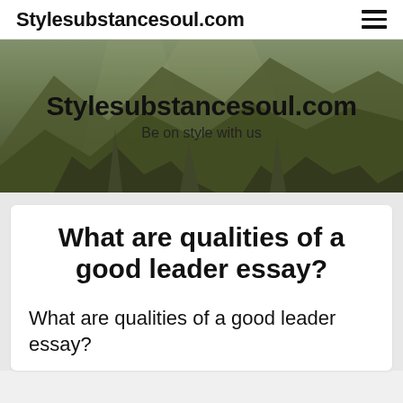Stylesubstancesoul.com
[Figure (photo): Hero banner with mountain/rocky landscape background, showing 'Stylesubstancesoul.com' site title and tagline 'Be on style with us']
What are qualities of a good leader essay?
What are qualities of a good leader essay?